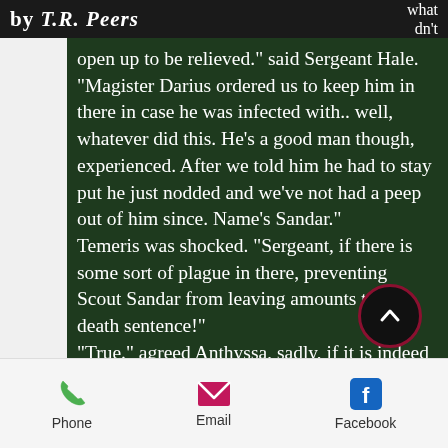by T.R. Peers   what dn't
open up to be relieved." said Sergeant Hale. "Magister Darius ordered us to keep him in there in case he was infected with.. well, whatever did this. He's a good man though, experienced. After we told him he had to stay put he just nodded and we've not had a peep out of him since. Name's Sandar."
Temeris was shocked. "Sergeant, if there is some sort of plague in there, preventing Scout Sandar from leaving amounts to a death sentence!"
"True." agreed Anthyssa, sadly, if it is indeed a plague, letting him out
Phone   Email   Facebook